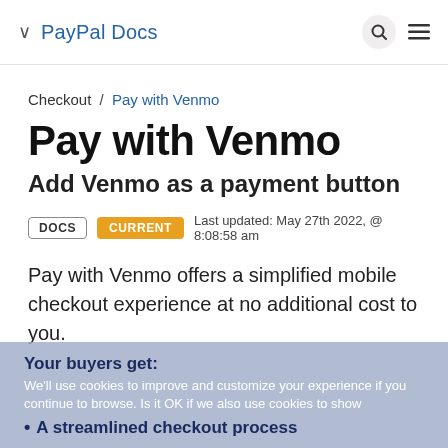PayPal Docs
Checkout / Pay with Venmo
Pay with Venmo
Add Venmo as a payment button
DOCS  CURRENT  Last updated: May 27th 2022, @ 8:08:58 am
Pay with Venmo offers a simplified mobile checkout experience at no additional cost to you.
Your buyers get:
We'll use cookies to improve and customize your experience if you continue to browse. Is it OK if we also use cookies to show
A streamlined checkout process